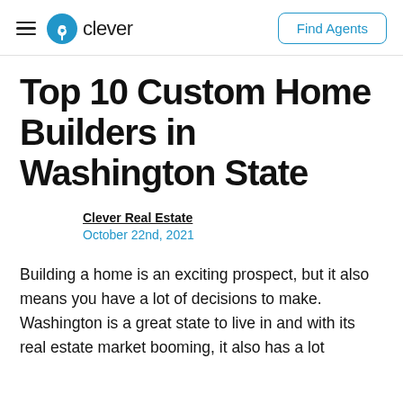clever | Find Agents
Top 10 Custom Home Builders in Washington State
Clever Real Estate
October 22nd, 2021
Building a home is an exciting prospect, but it also means you have a lot of decisions to make. Washington is a great state to live in and with its real estate market booming, it also has a lot